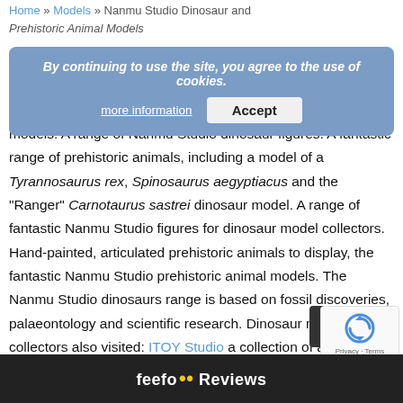Home » Models » Nanmu Studio Dinosaur and Prehistoric Animal Models
By continuing to use the site, you agree to the use of cookies.
more information   Accept
The Nanmu Studio dinosaur and prehistoric animal models. A range of Nanmu Studio dinosaur figures. A fantastic range of prehistoric animals, including a model of a Tyrannosaurus rex, Spinosaurus aegyptiacus and the “Ranger” Carnotaurus sastrei dinosaur model. A range of fantastic Nanmu Studio figures for dinosaur model collectors. Hand-painted, articulated prehistoric animals to display, the fantastic Nanmu Studio prehistoric animal models. The Nanmu Studio dinosaurs range is based on fossil discoveries, palaeontology and scientific research. Dinosaur model collectors also visited: ITOY Studio a collection of amazing prehistoric animals dinosaurs from Everything Dinosaur. Buy Nanmu Studio models on-line. [Nanmu Studio] stocks a huge range